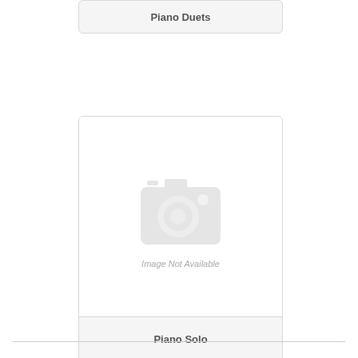Piano Duets
[Figure (photo): Image Not Available placeholder with camera icon]
Piano Solo